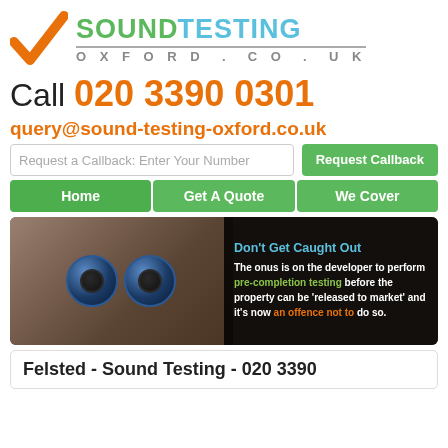[Figure (logo): Sound Testing Oxford logo with green checkmark, green 'souND' text and blue 'TESTING' text, grey 'OXFORD.CO.UK' subtitle]
Call 020 3390 0301
query@sound-testing-oxford.co.uk
Request a Callback: Enter Your Number | Request Callback
Home | Get A Quote | We Cover
[Figure (photo): Two blue speaker balls on wooden background with dark overlay text: Don't Get Caught Out - The onus is on the developer to perform pre-completion testing before the property can be 'released to market' and it's now an offence not to do so.]
Felsted - Sound Testing - 020 3390